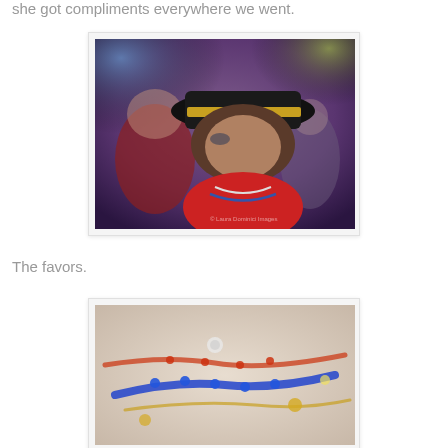she got compliments everywhere we went.
[Figure (photo): Woman in profile wearing a black hat with a gold band and a red top with beaded necklaces, seated at an indoor event with purple/blue ambient lighting]
The favors.
[Figure (photo): Close-up of colorful beaded jewelry/favors arranged on a light surface, including blue, red/orange, and gold beads]